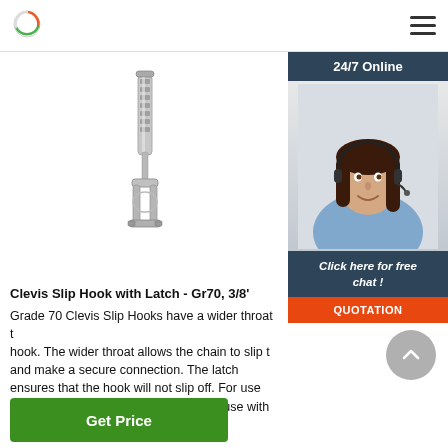Logo / Navigation header
[Figure (photo): Clevis Slip Hook with Latch product photo showing a chrome/stainless steel clevis hook with bolt latch and turnbuckle body]
[Figure (photo): 24/7 Online customer service agent - woman wearing headset, smiling, with '24/7 Online' banner, 'Click here for free chat!' and QUOTATION button]
Clevis Slip Hook with Latch - Gr70, 3/8'
Grade 70 Clevis Slip Hooks have a wider throat than a standard hook. The wider throat allows the chain to slip through and make a secure connection. The latch ensures that the hook will not slip off. For use with Grade 70 or lower chains; Not for use with grade 80 ...
Get Price